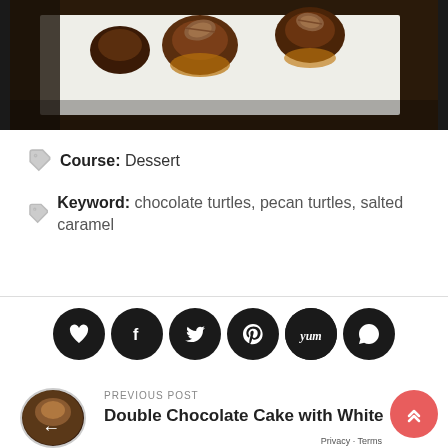[Figure (photo): Chocolate pecan turtle candies on parchment paper, viewed from above]
Course: Dessert
Keyword: chocolate turtles, pecan turtles, salted caramel
[Figure (infographic): Social media share icons: heart, Facebook, Twitter, Pinterest, Yummly, WhatsApp]
PREVIOUS POST
Double Chocolate Cake with White